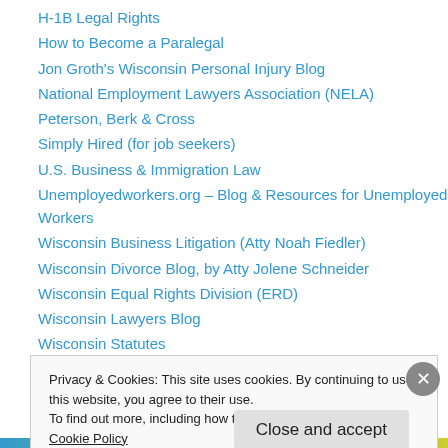H-1B Legal Rights
How to Become a Paralegal
Jon Groth's Wisconsin Personal Injury Blog
National Employment Lawyers Association (NELA)
Peterson, Berk & Cross
Simply Hired (for job seekers)
U.S. Business & Immigration Law
Unemployedworkers.org – Blog & Resources for Unemployed Workers
Wisconsin Business Litigation (Atty Noah Fiedler)
Wisconsin Divorce Blog, by Atty Jolene Schneider
Wisconsin Equal Rights Division (ERD)
Wisconsin Lawyers Blog
Wisconsin Statutes
Privacy & Cookies: This site uses cookies. By continuing to use this website, you agree to their use.
To find out more, including how to control cookies, see here: Cookie Policy
Close and accept